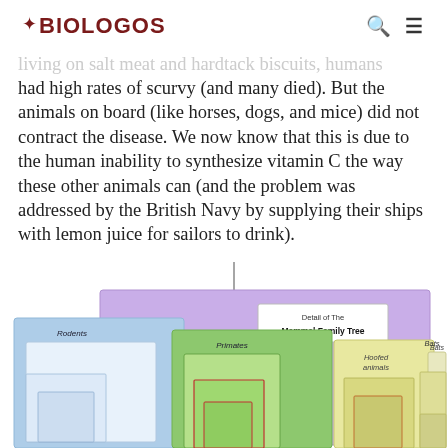BioLogos
had high rates of scurvy (and many died). But the animals on board (like horses, dogs, and mice) did not contract the disease. We now know that this is due to the human inability to synthesize vitamin C the way these other animals can (and the problem was addressed by the British Navy by supplying their ships with lemon juice for sailors to drink).
[Figure (illustration): Detail of The Mammal Family Tree diagram showing nested colored rectangles representing evolutionary groupings: Rodents (blue), Primates (green/purple), Hoofed animals (yellow), and Bats (yellow/beige), with hierarchical nested boxes indicating taxonomic relationships.]